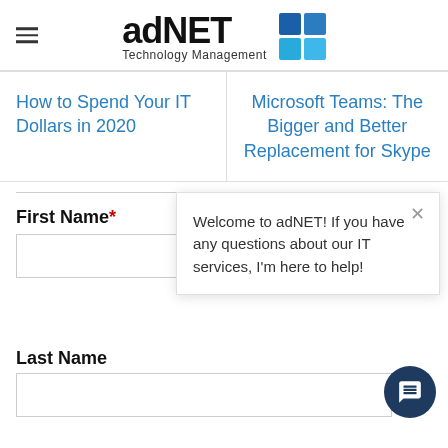[Figure (logo): adNET Technology Management logo with blue grid squares]
How to Spend Your IT Dollars in 2020
Microsoft Teams: The Bigger and Better Replacement for Skype
First Name*
Welcome to adNET! If you have any questions about our IT services, I'm here to help!
Last Name